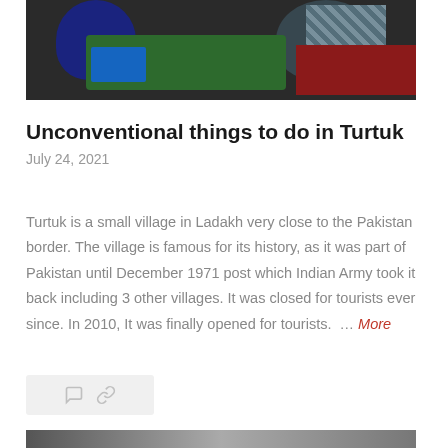[Figure (photo): Children sitting on a colorful mat on the floor, viewed from above, with books and toys visible]
Unconventional things to do in Turtuk
July 24, 2021
Turtuk is a small village in Ladakh very close to the Pakistan border. The village is famous for its history, as it was part of Pakistan until December 1971 post which Indian Army took it back including 3 other villages. It was closed for tourists ever since. In 2010, It was finally opened for tourists. … More
[Figure (photo): Partial view of another photo at the bottom of the page]